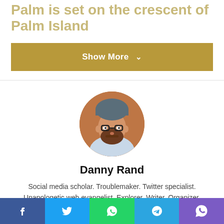Palm is set on the crescent of Palm Island
Show More ˅
[Figure (photo): Circular avatar photo of Danny Rand, a bearded man wearing glasses and a grey knit beanie with a light hoodie, autumn background]
Danny Rand
Social media scholar. Troublemaker. Twitter specialist. Unapologetic web evangelist. Explorer. Writer. Organizer.
[Figure (other): Social media icons: Facebook, Twitter (X), Instagram]
Facebook | Twitter | WhatsApp | Telegram | Viber share buttons